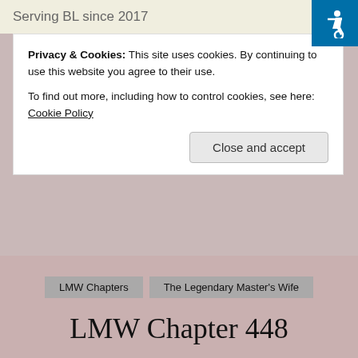Serving BL since 2017
Privacy & Cookies: This site uses cookies. By continuing to use this website you agree to their use.
To find out more, including how to control cookies, see here: Cookie Policy
Close and accept
LMW Chapters    The Legendary Master's Wife
LMW Chapter 448
by exiledrebelsscanlations  •  on June 17, 2018
77 Comments
« Previous Chapter
Next Chapter